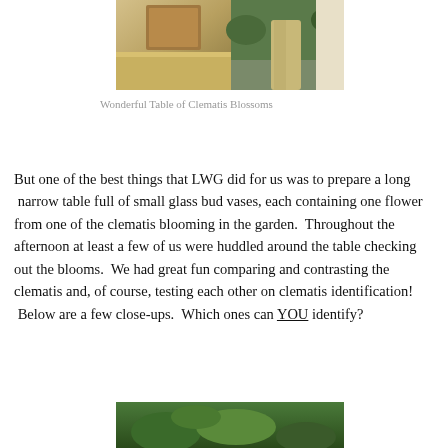[Figure (photo): Partial photograph showing a table display of clematis blossoms, with a person visible on the right side wearing khaki pants, outdoors in a garden setting.]
Wonderful Table of Clematis Blossoms
But one of the best things that LWG did for us was to prepare a long  narrow table full of small glass bud vases, each containing one flower from one of the clematis blooming in the garden.  Throughout the afternoon at least a few of us were huddled around the table checking out the blooms.  We had great fun comparing and contrasting the clematis and, of course, testing each other on clematis identification!  Below are a few close-ups.  Which ones can YOU identify?
[Figure (photo): Bottom portion of a photograph showing green garden foliage, partially cropped.]